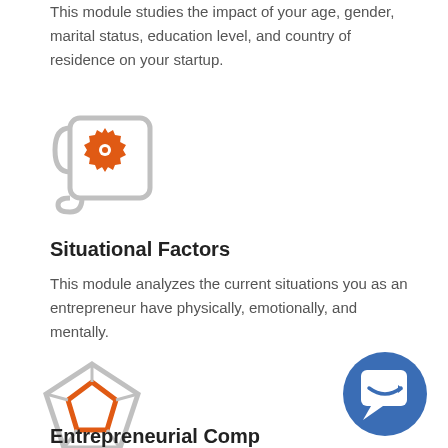This module studies the impact of your age, gender, marital status, education level, and country of residence on your startup.
[Figure (illustration): Gray scroll/document icon with an orange gear/settings icon overlaid on it]
Situational Factors
This module analyzes the current situations you as an entrepreneur have physically, emotionally, and mentally.
[Figure (illustration): Gray pentagon outline with an orange filled pentagon inside, forming a star-like shape]
[Figure (illustration): Blue circle with a white chat/speech bubble icon containing an Amazon-style arrow]
Entrepreneurial Comp...